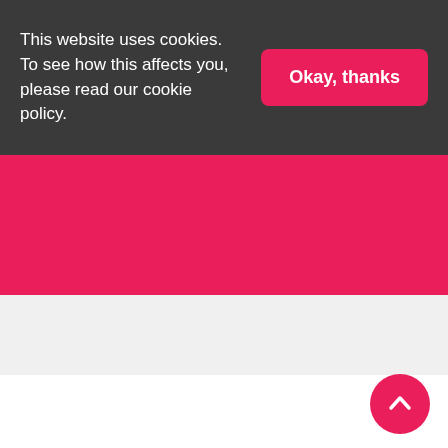This website uses cookies. To see how this affects you, please read our cookie policy.
Okay, thanks
[Figure (other): Red/pink horizontal banner bar]
[Figure (other): Light gray horizontal bar below red banner]
[Figure (other): Scroll-to-top pink circular button with upward chevron arrow in bottom right corner]